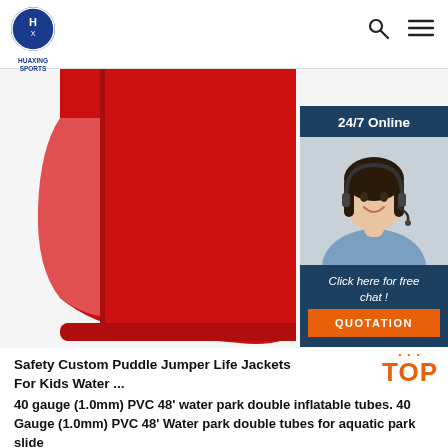HUAXING SPORTS
[Figure (photo): Red inflatable product (puddle jumper/life jacket panel) against white background, with a 24/7 online chat widget overlay in the top-right showing a woman with a headset, 'Click here for free chat!' text, and an orange QUOTATION button.]
Safety Custom Puddle Jumper Life Jackets For Kids Water ...
40 gauge (1.0mm) PVC 48' water park double inflatable tubes. 40 Gauge (1.0mm) PVC 48' Water park double tubes for aquatic park slide